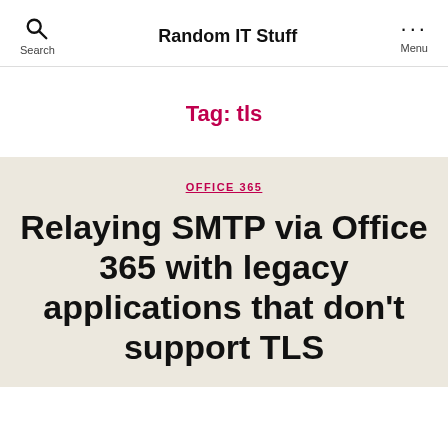Search   Random IT Stuff   Menu
Tag: tls
OFFICE 365
Relaying SMTP via Office 365 with legacy applications that don't support TLS